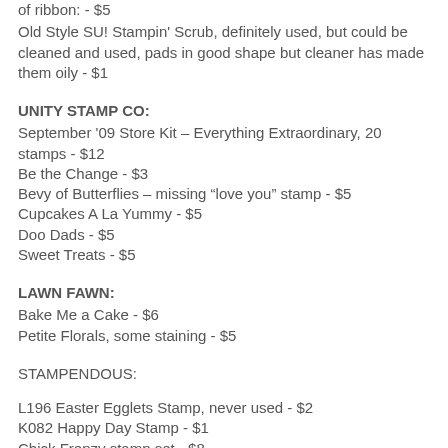of ribbon: - $5
Old Style SU! Stampin' Scrub, definitely used, but could be cleaned and used, pads in good shape but cleaner has made them oily - $1
UNITY STAMP CO:
September '09 Store Kit – Everything Extraordinary, 20 stamps - $12
Be the Change - $3
Bevy of Butterflies – missing “love you” stamp - $5
Cupcakes A La Yummy - $5
Doo Dads - $5
Sweet Treats - $5
LAWN FAWN:
Bake Me a Cake - $6
Petite Florals, some staining - $5
STAMPENDOUS:
L196 Easter Egglets Stamp, never used - $2
K082 Happy Day Stamp - $1
Chick Frenzy stamp set - $8